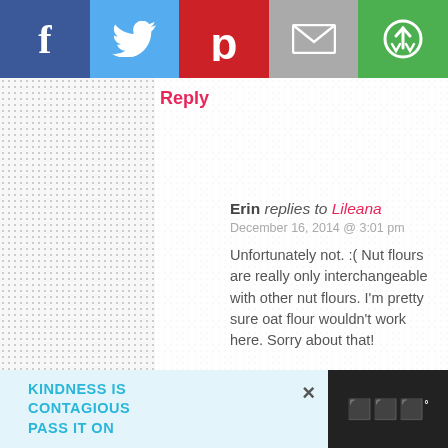[Figure (infographic): Social media sharing bar with Facebook, Twitter, Pinterest, Email, and Share buttons across the top]
Reply
Erin replies to Lileana
December 16, 2014 @ 3:01 pm

Unfortunately not. :( Nut flours are really only interchangeable with other nut flours. I'm pretty sure oat flour wouldn't work here. Sorry about that!
Dana replies to Lileana
December 16, 2014 @ 7:23 pm

Thank you for the answer!!! :D
[Figure (infographic): Scroll to top widget in bottom right]
KINDNESS IS CONTAGIOUS PASS IT ON